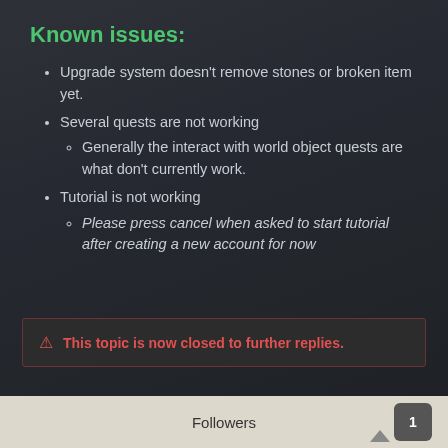Known issues:
Upgrade system doesn't remove stones or broken item yet.
Several quests are not working
Generally the interact with world object quests are what don't currently work.
Tutorial is not working
Please press cancel when asked to start tutorial after creating a new account for now
⚠ This topic is now closed to further replies.
Followers  1